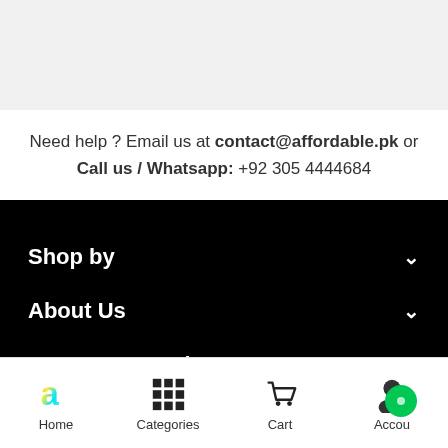Need help ? Email us at contact@affordable.pk or Call us / Whatsapp: +92 305 4444684
Shop by
About Us
Customer Service
Home  Categories  Cart  Account